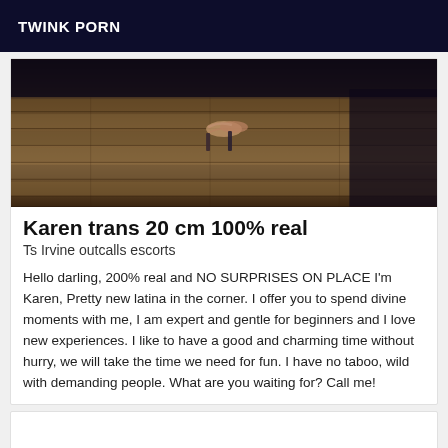TWINK PORN
[Figure (photo): Close-up photo of feet in high heels on a wood-grain floor]
Karen trans 20 cm 100% real
Ts Irvine outcalls escorts
Hello darling, 200% real and NO SURPRISES ON PLACE I'm Karen, Pretty new latina in the corner. I offer you to spend divine moments with me, I am expert and gentle for beginners and I love new experiences. I like to have a good and charming time without hurry, we will take the time we need for fun. I have no taboo, wild with demanding people. What are you waiting for? Call me!